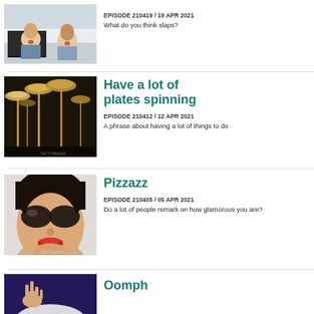[Figure (photo): Two young men looking surprised at a computer screen]
EPISODE 210419 / 19 APR 2021
What do you think slaps?
[Figure (photo): Spinning plates on poles, gold and metallic tones]
Have a lot of plates spinning
EPISODE 210412 / 12 APR 2021
A phrase about having a lot of things to do
[Figure (photo): Woman with sunglasses and red lipstick, glamorous look]
Pizzazz
EPISODE 210405 / 05 APR 2021
Do a lot of people remark on how glamorous you are?
[Figure (photo): Person with hands gesturing against dark blue background]
Oomph